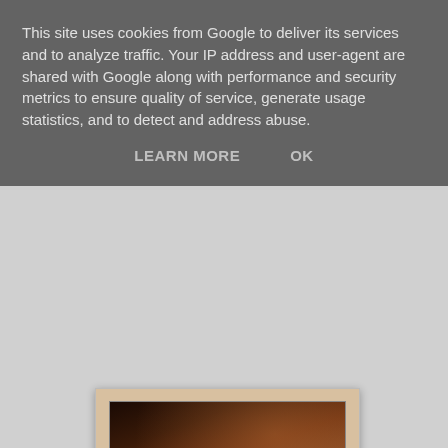This site uses cookies from Google to deliver its services and to analyze traffic. Your IP address and user-agent are shared with Google along with performance and security metrics to ensure quality of service, generate usage statistics, and to detect and address abuse.
LEARN MORE    OK
[Figure (photo): A postage stamp showing a dark dramatic fantasy scene (Game of Thrones Iron Throne) with perforated edges visible at bottom]
[Figure (photo): A Game of Thrones stamp booklet showing a golden compass/wheel design on the left panel and 6 small stamps arranged in a 3x2 grid on the right, with a dark spine]
Collector Sheet - 10 x 1st class stamps with "labels that highlight key quotes from the series". (Price £7.50, product